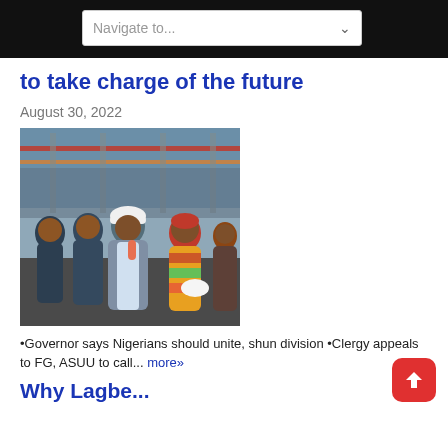Navigate to...
to take charge of the future
August 30, 2022
[Figure (photo): Governor speaking at a construction site, wearing a white hard hat and blue blazer, holding a microphone. Several people including a woman in colorful traditional attire stand nearby.]
•Governor says Nigerians should unite, shun division •Clergy appeals to FG, ASUU to call... more»
Why Lagbe...